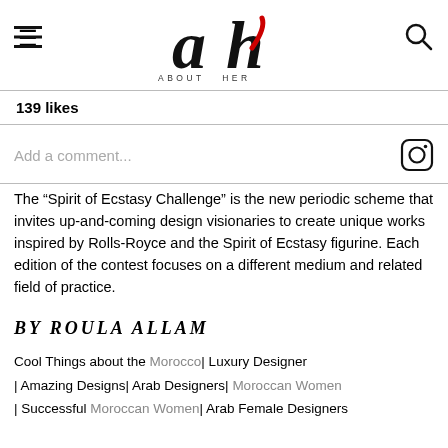About Her — logo header with hamburger menu and search icon
139 likes
Add a comment...
The “Spirit of Ecstasy Challenge” is the new periodic scheme that invites up-and-coming design visionaries to create unique works inspired by Rolls-Royce and the Spirit of Ecstasy figurine. Each edition of the contest focuses on a different medium and related field of practice.
BY ROULA ALLAM
Cool Things about the Morocco| Luxury Designer | Amazing Designs| Arab Designers| Moroccan Women | Successful Moroccan Women| Arab Female Designers